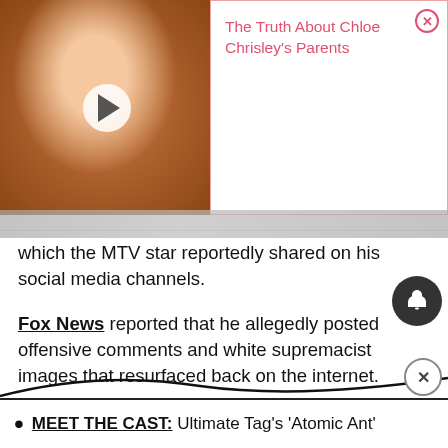[Figure (screenshot): Video thumbnail of a young girl smiling, with a play button overlay, and an advertisement panel to the right showing 'The Truth About Chloe Chrisley's Parents' in pink text with a close button]
which the MTV star reportedly shared on his social media channels.
Fox News reported that he allegedly posted offensive comments and white supremacist images that resurfaced back on the internet.
In addition, People explained that it remains unknown what Alex's exact social media posts were. They were shared through fan social media accounts.
MEET THE CAST: Ultimate Tag's 'Atomic Ant'